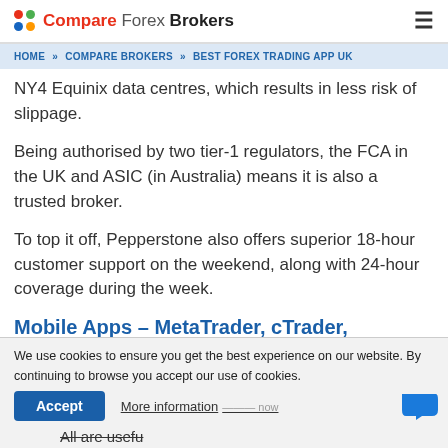Compare Forex Brokers
HOME » COMPARE BROKERS » BEST FOREX TRADING APP UK
NY4 Equinix data centres, which results in less risk of slippage.
Being authorised by two tier-1 regulators, the FCA in the UK and ASIC (in Australia) means it is also a trusted broker.
To top it off, Pepperstone also offers superior 18-hour customer support on the weekend, along with 24-hour coverage during the week.
Mobile Apps – MetaTrader, cTrader, TradingView
We use cookies to ensure you get the best experience on our website. By continuing to browse you accept our use of cookies.
All are usefu